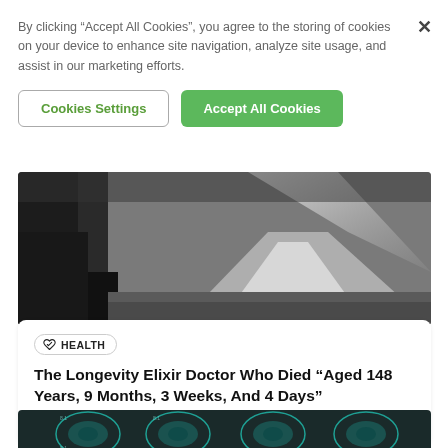By clicking “Accept All Cookies”, you agree to the storing of cookies on your device to enhance site navigation, analyze site usage, and assist in our marketing efforts.
Cookies Settings
Accept All Cookies
[Figure (photo): Black and white photograph of a forest path with light filtering through trees onto grass]
HEALTH
The Longevity Elixir Doctor Who Died "Aged 148 Years, 9 Months, 3 Weeks, And 4 Days"
Sep 2 2022
[Figure (photo): Brain MRI scan images showing multiple cross-sections of a human brain in teal/cyan tones]